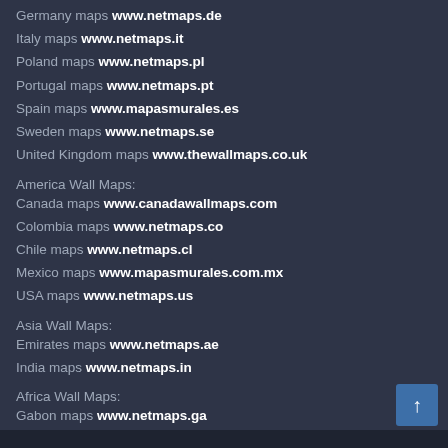Germany maps www.netmaps.de
Italy maps www.netmaps.it
Poland maps www.netmaps.pl
Portugal maps www.netmaps.pt
Spain maps www.mapasmurales.es
Sweden maps www.netmaps.se
United Kingdom maps www.thewallmaps.co.uk
America Wall Maps:
Canada maps www.canadawallmaps.com
Colombia maps www.netmaps.co
Chile maps www.netmaps.cl
Mexico maps www.mapasmurales.com.mx
USA maps www.netmaps.us
Asia Wall Maps:
Emirates maps www.netmaps.ae
India maps www.netmaps.in
Africa Wall Maps:
Gabon maps www.netmaps.ga
Mali maps www.netmaps.ml